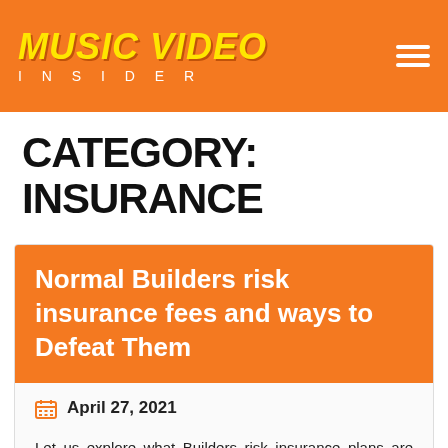MUSIC VIDEO INSIDER
CATEGORY: INSURANCE
Normal Builders risk insurance fees and ways to Defeat Them
April 27, 2021
Let us explore what Builders risk insurance plans are before we begin just what is a standard Builders risk insurance charge. Home builder's chance insurance